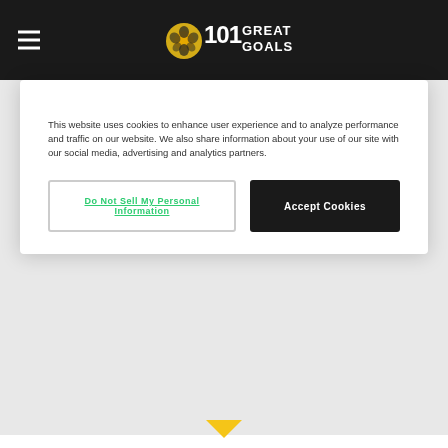101 Great Goals
This website uses cookies to enhance user experience and to analyze performance and traffic on our website. We also share information about your use of our site with our social media, advertising and analytics partners.
Do Not Sell My Personal Information
Accept Cookies
101 Great Goals is a global, football media news publisher devoted to producing content for a digital generation over web, social and mobile platforms. The 101 Great Goals website is constantly updated with live streaming information and football betting tips, as well as football (soccer) news, video and social media updates by the hour. Every single day of the week. We pride ourselves at 101 Great Goals on sourcing the best ways for football fans to watch upcoming matches. Our intention is to inform on forthcoming matches, both how to view and also